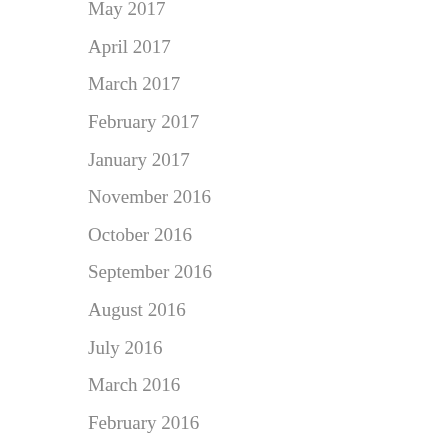May 2017
April 2017
March 2017
February 2017
January 2017
November 2016
October 2016
September 2016
August 2016
July 2016
March 2016
February 2016
January 2016